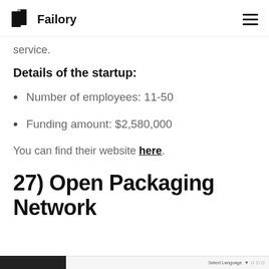Failory
service.
Details of the startup:
Number of employees: 11-50
Funding amount: $2,580,000
You can find their website here.
27) Open Packaging Network